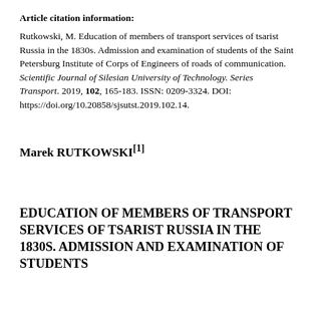Article citation information:
Rutkowski, M. Education of members of transport services of tsarist Russia in the 1830s. Admission and examination of students of the Saint Petersburg Institute of Corps of Engineers of roads of communication. Scientific Journal of Silesian University of Technology. Series Transport. 2019, 102, 165-183. ISSN: 0209-3324. DOI: https://doi.org/10.20858/sjsutst.2019.102.14.
Marek RUTKOWSKI[1]
EDUCATION OF MEMBERS OF TRANSPORT SERVICES OF TSARIST RUSSIA IN THE 1830S. ADMISSION AND EXAMINATION OF STUDENTS